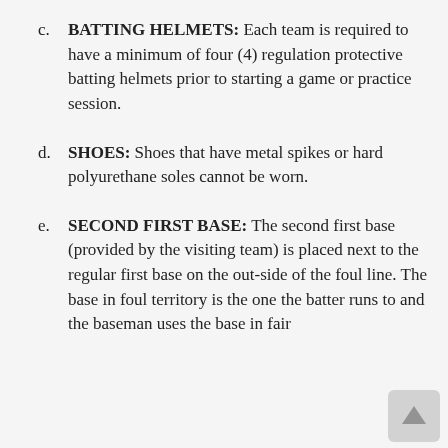c. BATTING HELMETS: Each team is required to have a minimum of four (4) regulation protective batting helmets prior to starting a game or practice session.
d. SHOES: Shoes that have metal spikes or hard polyurethane soles cannot be worn.
e. SECOND FIRST BASE: The second first base (provided by the visiting team) is placed next to the regular first base on the out-side of the foul line. The base in foul territory is the one the batter runs to and the baseman uses the base in fair